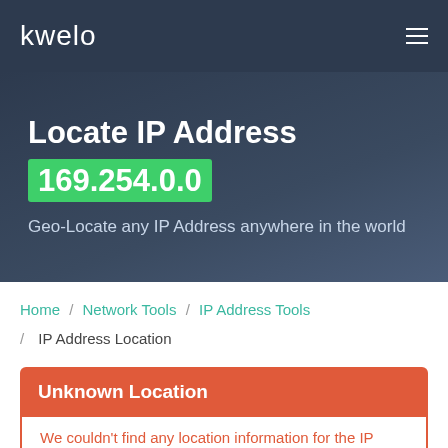kwelo
Locate IP Address 169.254.0.0
Geo-Locate any IP Address anywhere in the world
Home / Network Tools / IP Address Tools / IP Address Location
Unknown Location
We couldn't find any location information for the IP address 169.254.0.0